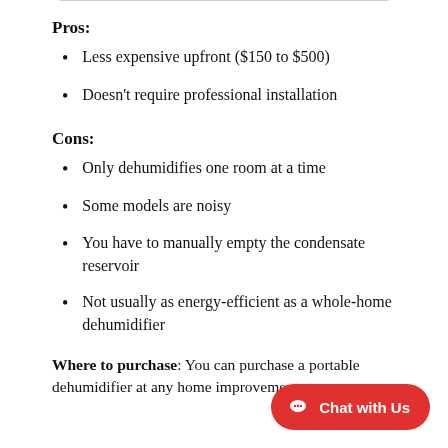Pros:
Less expensive upfront ($150 to $500)
Doesn't require professional installation
Cons:
Only dehumidifies one room at a time
Some models are noisy
You have to manually empty the condensate reservoir
Not usually as energy-efficient as a whole-home dehumidifier
Where to purchase: You can purchase a portable dehumidifier at any home improvement store…